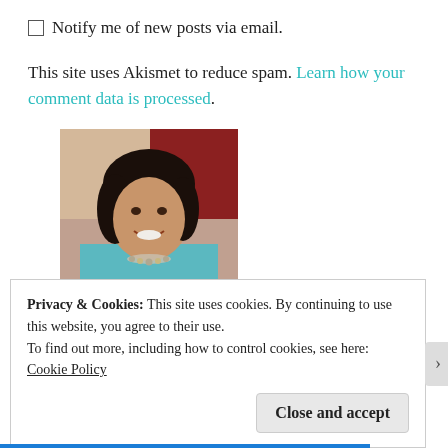Notify me of new posts via email.
This site uses Akismet to reduce spam. Learn how your comment data is processed.
[Figure (photo): Portrait photo of a smiling woman with dark hair, wearing a teal top and a necklace, against a reddish-brown background.]
Privacy & Cookies: This site uses cookies. By continuing to use this website, you agree to their use.
To find out more, including how to control cookies, see here: Cookie Policy
Close and accept